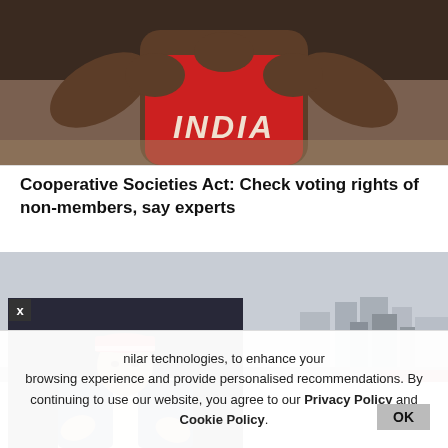[Figure (photo): A muscular person from behind wearing a red sleeveless jersey with 'INDIA' written on it, posed with arms flexed, against a gritty background.]
Cooperative Societies Act: Check voting rights of non-members, say experts
[Figure (photo): A cityscape with tall residential buildings under a hazy sky; a popup overlay shows a politician in a red cap speaking at a press conference.]
nilar technologies, to enhance your browsing experience and provide personalised recommendations. By continuing to use our website, you agree to our Privacy Policy and Cookie Policy.